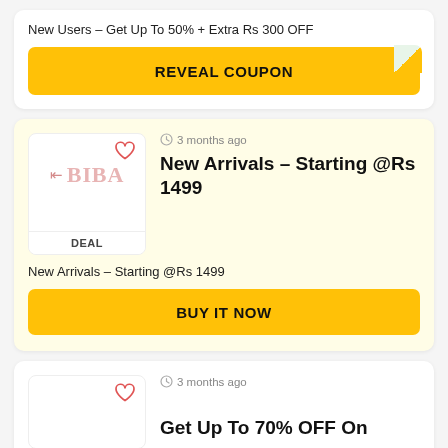New Users - Get Up To 50% + Extra Rs 300 OFF
REVEAL COUPON
3 months ago
New Arrivals – Starting @Rs 1499
[Figure (logo): BIBA brand logo with heart icon and DEAL label]
New Arrivals – Starting @Rs 1499
BUY IT NOW
3 months ago
Get Up To 70% OFF On